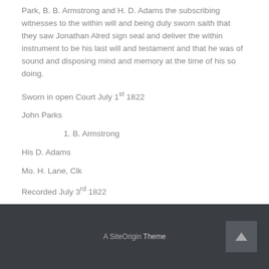Park, B. B. Armstrong and H. D. Adams the subscribing witnesses to the within will and being duly sworn saith that they saw Jonathan Alred sign seal and deliver the within instrument to be his last will and testament and that he was of sound and disposing mind and memory at the time of his so doing.
Sworn in open Court July 1st 1822
John Parks
1. B. Armstrong
His D. Adams
Mo. H. Lane, Clk
Recorded July 3rd 1822
A SiteOrigin Theme